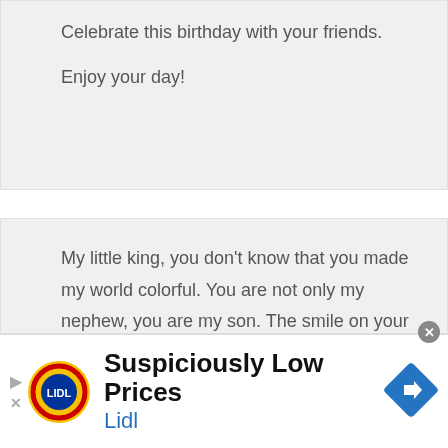Celebrate this birthday with your friends.
Enjoy your day!
My little king, you don't know that you made my world colorful. You are not only my nephew, you are my son. The smile on your face makes me happier. Wishing you a very happy birthday on your ninth birthday!
[Figure (screenshot): Advertisement banner for Lidl showing the Lidl logo, text 'Suspiciously Low Prices' and 'Lidl', a blue road sign diamond icon, a play arrow icon, and a close X icon.]